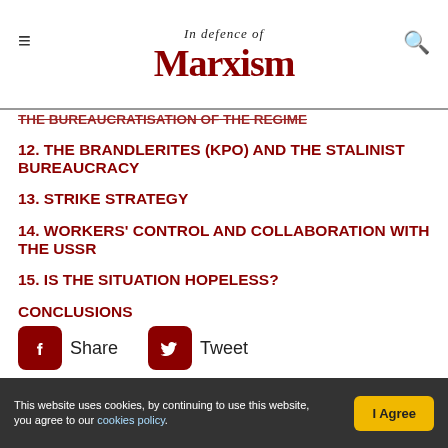In Defence of Marxism
THE BUREAUCRATISATION OF THE REGIME
12. THE BRANDLERITES (KPO) AND THE STALINIST BUREAUCRACY
13. STRIKE STRATEGY
14. WORKERS' CONTROL AND COLLABORATION WITH THE USSR
15. IS THE SITUATION HOPELESS?
CONCLUSIONS
ALL PAGES
Share  Tweet
This website uses cookies, by continuing to use this website, you agree to our cookies policy.  I Agree